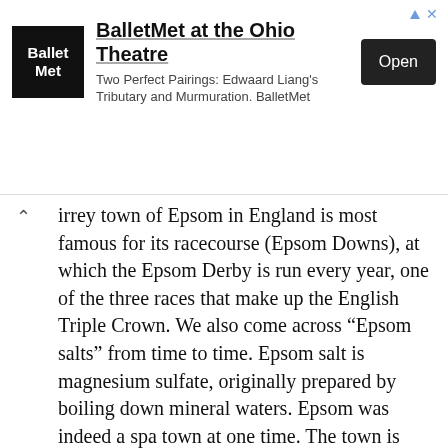[Figure (other): BalletMet advertisement banner with logo, title 'BalletMet at the Ohio Theatre', subtitle 'Two Perfect Pairings: Edwaard Liang's Tributary and Murmuration. BalletMet', and an Open button]
irrey town of Epsom in England is most famous for its racecourse (Epsom Downs), at which the Epsom Derby is run every year, one of the three races that make up the English Triple Crown. We also come across “Epsom salts” from time to time. Epsom salt is magnesium sulfate, originally prepared by boiling down mineral waters. Epsom was indeed a spa town at one time. The town is also home to Epsom College, an English “public school” (which actually means “private, and expensive”). One of Epsom’s “old boys” was the Hollywood actor Stewart Granger.
53 So yesterday : PASSE
“Passé” is a French word, meaning “past, faded”. We’ve imported the term into English, and use it in the same